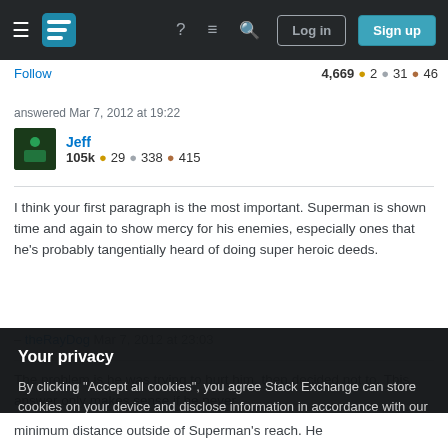Stack Exchange navigation bar with Log in and Sign up buttons
Follow  4,669 ● 2 ● 31 ● 46
answered Mar 7, 2012 at 19:22
Jeff  105k ● 29 ● 338 ● 415
I think your first paragraph is the most important. Superman is shown time and again to show mercy for his enemies, especially ones that he's probably tangentially heard of doing super heroic deeds.
– theRayDog Mar 7, 2012 at 23:03
The problem is he was trying to hurt him, then decided not to. This answer only makes sense if he never
Your privacy
By clicking "Accept all cookies", you agree Stack Exchange can store cookies on your device and disclose information in accordance with our Cookie Policy.
Accept all cookies
Customize settings
minimum distance outside of Superman's reach. He